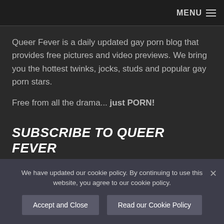MENU
Queer Fever is a daily updated gay porn blog that provides free pictures and video previews. We bring you the hottest twinks, jocks, studs and popular gay porn stars.
Free from all the drama... just PORN!
SUBSCRIBE TO QUEER FEVER
Receive new posts directly in your inbox (or get a daily or weekly overview)
We have updated our cookie policy. By continuing to use this website, you agree to our cookie policy.
Accept and Close
Read our Cookie Policy